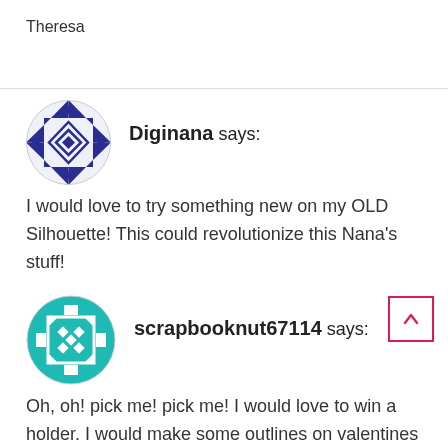Theresa
[Figure (illustration): Blue geometric diamond pattern avatar for user Diginana]
Diginana says:
I would love to try something new on my OLD Silhouette! This could revolutionize this Nana's stuff!
[Figure (illustration): Teal geometric square pattern avatar for user scrapbooknut67114]
scrapbooknut67114 says:
Oh, oh! pick me! pick me! I would love to win a holder. I would make some outlines on valentines